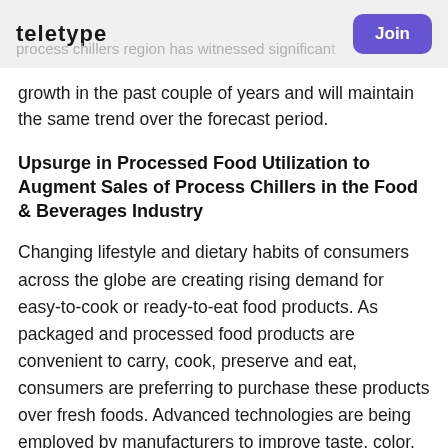teletype
process chillers region has witnessed significant growth in the past couple of years and will maintain the same trend over the forecast period.
Upsurge in Processed Food Utilization to Augment Sales of Process Chillers in the Food & Beverages Industry
Changing lifestyle and dietary habits of consumers across the globe are creating rising demand for easy-to-cook or ready-to-eat food products. As packaged and processed food products are convenient to carry, cook, preserve and eat, consumers are preferring to purchase these products over fresh foods. Advanced technologies are being employed by manufacturers to improve taste, color, flavor, and nutritional values of